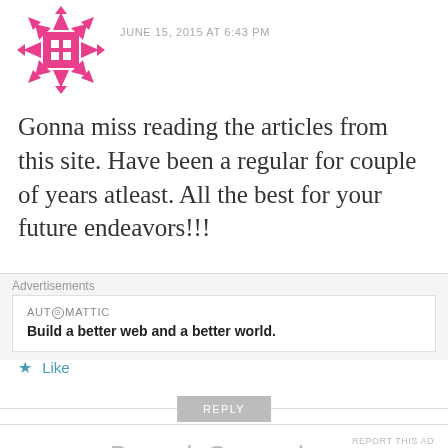[Figure (illustration): Pink decorative snowflake/flower avatar icon for user 'tycan codex']
JUNE 15, 2015 AT 6:43 PM
Gonna miss reading the articles from this site. Have been a regular for couple of years atleast. All the best for your future endeavors!!!
★ Like
REPLY
[Figure (illustration): Teal/cyan robot or bus-like avatar icon for user 'Deepak Gawande']
Deepak Gawande
JUNE 15, 2015 AT 7:10 PM
Advertisements
AUT⊙MATTIC
Build a better web and a better world.